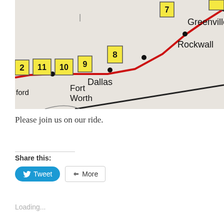[Figure (map): A cropped road map showing a red route line passing through cities in Texas including Fort Worth, Dallas, Rockwall, and Greenville. Yellow numbered markers (2, 11, 10, 9, 8, 7 and partial numbers) are placed along the route with dots marking city locations.]
Please join us on our ride.
Share this:
Tweet
More
Loading...